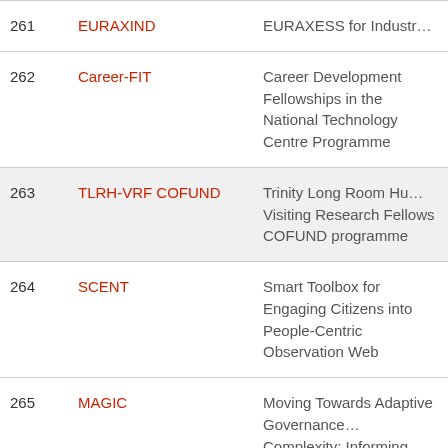| # | Acronym | Title |
| --- | --- | --- |
| 261 | EURAXIND | EURAXESS for Industr… |
| 262 | Career-FIT | Career Development Fellowships in the National Technology Centre Programme |
| 263 | TLRH-VRF COFUND | Trinity Long Room Hu… Visiting Research Fellows COFUND programme |
| 264 | SCENT | Smart Toolbox for Engaging Citizens into People-Centric Observation Web |
| 265 | MAGIC | Moving Towards Adaptive Governance… Complexity: Informing… Nexus Security |